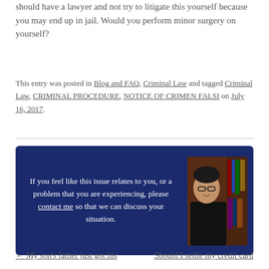should have a lawyer and not try to litigate this yourself because you may end up in jail. Would you perform minor surgery on yourself?
This entry was posted in Blog and FAQ, Criminal Law and tagged Criminal Law, CRIMINAL PROCEDURE, NOTICE OF CRIMEN FALSI on July 16, 2017.
[Figure (infographic): Dark blue CTA box with white text reading 'If you feel like this issue relates to you, or a problem that you are experiencing, please contact me so that we can discuss your situation.' alongside a photo of a man in a black shirt in front of bookshelves.]
← My son's father just got his    Should I settle my credit card